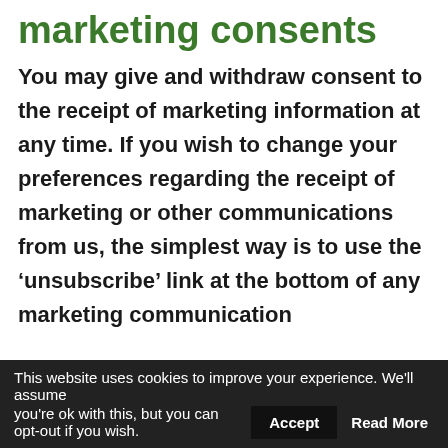marketing consents
You may give and withdraw consent to the receipt of marketing information at any time. If you wish to change your preferences regarding the receipt of marketing or other communications from us, the simplest way is to use the ‘unsubscribe’ link at the bottom of any marketing communication
This website uses cookies to improve your experience. We'll assume you're ok with this, but you can opt-out if you wish. Accept  Read More